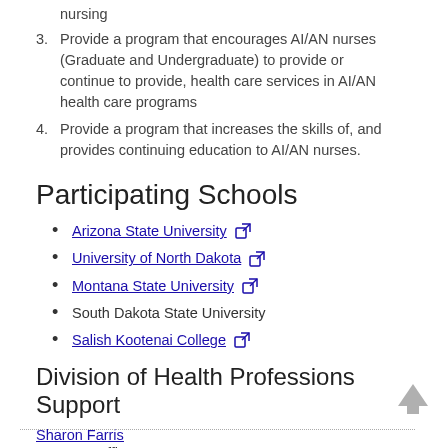nursing
3. Provide a program that encourages AI/AN nurses (Graduate and Undergraduate) to provide or continue to provide, health care services in AI/AN health care programs
4. Provide a program that increases the skills of, and provides continuing education to AI/AN nurses.
Participating Schools
Arizona State University [external link]
University of North Dakota [external link]
Montana State University [external link]
South Dakota State University
Salish Kootenai College [external link]
Division of Health Professions Support
Sharon Farris
Program Officer
Phone: 240-460-5565